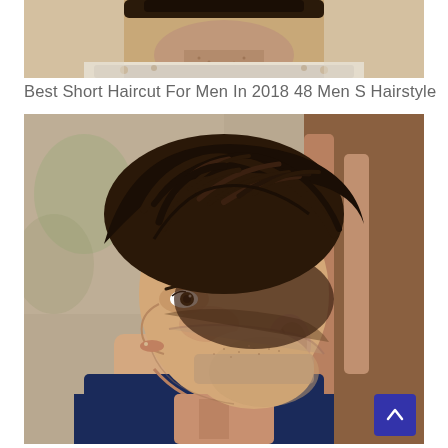[Figure (photo): Bottom portion of a photo showing a man's chin/neck area with a floral collar shirt, cropped view of a short haircut]
Best Short Haircut For Men In 2018 48 Men S Hairstyle
[Figure (photo): Side profile photo of a young man with a textured quiff / short back and sides fade haircut, brown hair styled upward and forward on top, with a skin fade on the sides, wearing a navy blue shirt]